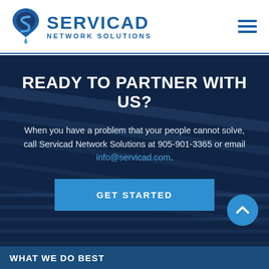[Figure (logo): Servicad Network Solutions logo with blue S-shaped shield icon and company name]
READY TO PARTNER WITH US?
When you have a problem that your people cannot solve, call Servicad Network Solutions at 905-901-3365 or email info@servicad.com.
GET STARTED
WHAT WE DO BEST